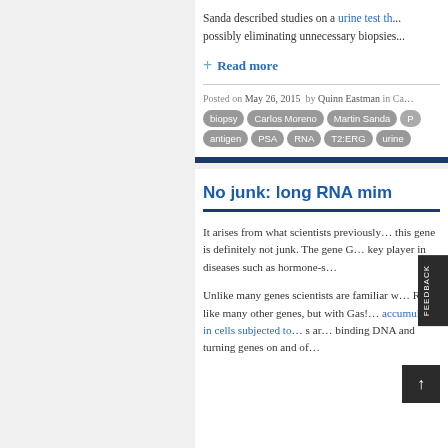Sanda described studies on a urine test th... possibly eliminating unnecessary biopsies...
+ Read more
Posted on May 26, 2015  by Quinn Eastman in Ca...
biopsy, Carlos Moreno, Martin Sanda, P..., antigen, PSA, RNA, T2:ERG, urine
No junk: long RNA mim...
It arises from what scientists previously... this gene is definitely not junk. The gene G... key player in diseases such as hormone-s...
Unlike many genes scientists are familiar w... RNA, like many other genes, but with Gas!... accumulates in cells subjected to... s ar... binding DNA and turning genes on and of...